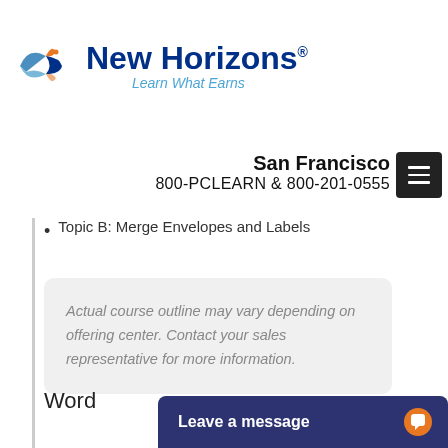[Figure (logo): New Horizons logo with tagline 'Learn What Earns' in blue and teal]
San Francisco
800-PCLEARN  & 800-201-0555
Topic B: Merge Envelopes and Labels
Actual course outline may vary depending on offering center. Contact your sales representative for more information.
Word
Leave a message